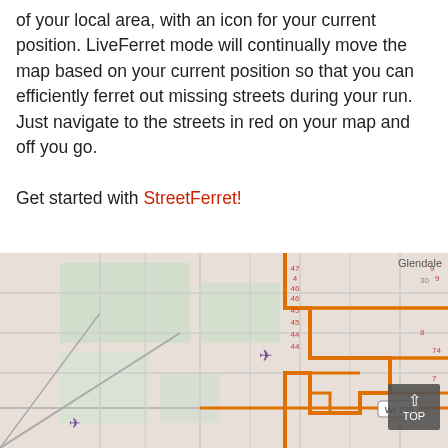of your local area, with an icon for your current position. LiveFerret mode will continually move the map based on your current position so that you can efficiently ferret out missing streets during your run. Just navigate to the streets in red on your map and off you go.

Get started with StreetFerret!
[Figure (map): A street map screenshot showing roads, with orange highlighted route lines, a 'WI 190' road label, small airplane icons, numbered labels (47, 46, 46, 45, 45, 44, 44, 74, etc.), and a partial 'Glendale' label in the top right. A dark 'TOP' button with upward arrow is visible in the bottom right corner.]